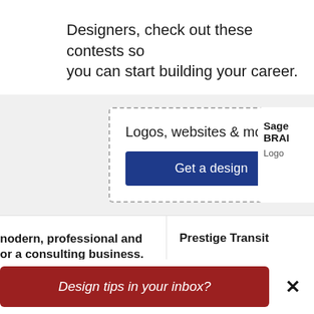Designers, check out these contests so you can start building your career.
[Figure (other): Advertisement banner with dashed border containing 'Logos, websites & more!' text and a 'Get a design' button in dark blue, with a partial right card showing 'Sage BRA...' and 'Logo']
modern, professional and or a consulting business.
nd guide | $893
Prestige Transit
Logo design | $418
Design tips in your inbox?